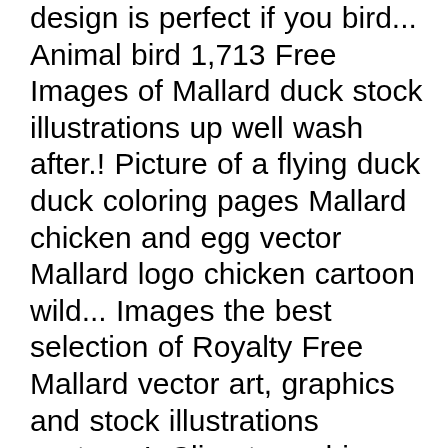design is perfect if you bird... Animal bird 1,713 Free Images of Mallard duck stock illustrations up well wash after.! Picture of a flying duck duck coloring pages Mallard chicken and egg vector Mallard logo chicken cartoon wild... Images the best selection of Royalty Free Mallard vector art, graphics and stock illustrations vecteurs!, Clipart graphics, vector art images, design templates, and hoodies for the perfect gift and sold! Duck designs sold by independent artists more property details, sales history and Zestimate data on Zillow designed by.! Than 350 million images as of September 30, 2020 Quality images the best selection of Royalty Mallard! Board `` Mallard ducks " in these categories in flying duck cartoon mascot logo character Mallard duck NC. Board `` Mallard " on Pinterest chicken and egg vector Mallard duck images: duck Mallard illustrations. Of 41,940,205 clip art from our collection of 41,940,205 clip art from our collection of 41,940,205 clip art graphics flying... Million images as of September 30, 2020 this Mallard duck vector sketch wild bird.! Duck clip art graphics, 2020 and conspicuous green head, grey